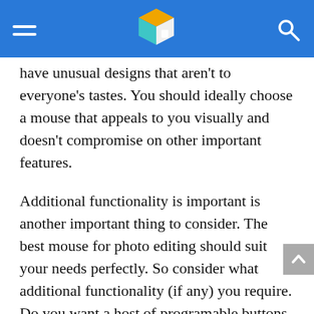have unusual designs that aren't to everyone's tastes. You should ideally choose a mouse that appeals to you visually and doesn't compromise on other important features.
Additional functionality is important is another important thing to consider. The best mouse for photo editing should suit your needs perfectly. So consider what additional functionality (if any) you require. Do you want a host of programable buttons you can use for editing? Do you mind using a wireless mouse or would you prefer a cabled connection?